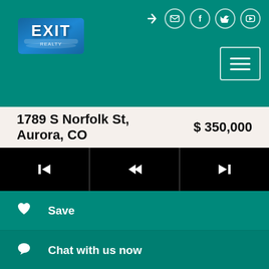[Figure (logo): EXIT Realty logo on teal header background with navigation icons and hamburger menu button]
1789 S Norfolk St, Aurora, CO   $ 350,000
[Figure (other): Black navigation bar with three media control buttons: skip-back, rewind, and skip-forward]
Save
Chat with us now
Ask agent a question
Request Showing
Share on Facebook